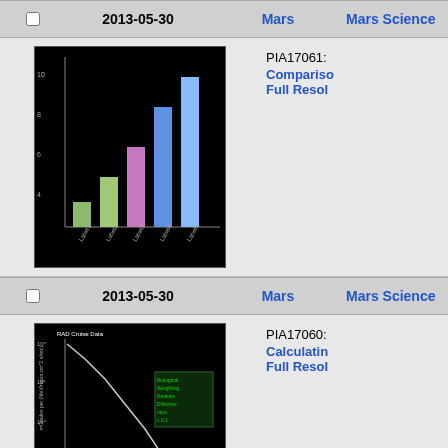|  | Date | Planet | Mission |
| --- | --- | --- | --- |
| ☐ | 2013-05-30 | Mars | Mars Science |
| [bar chart image] |  |  | PIA17061: Comparison Full Resolution |
| ☐ | 2013-05-30 | Mars | Mars Science |
| [line chart image] |  |  | PIA17060: Calculating Full Resolution |
| ☐ | 2013-05-30 | Mars | Mars Science |
| [scatter plot image] |  |  | PIA16939: Radiation Full Resolution |
| ☐ | 2013-05-30 | Mars | Mars Science |
| [photo image] |  |  | PIA16938: |